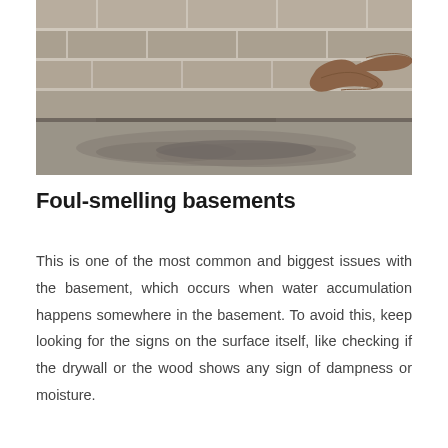[Figure (photo): A hand pointing at or touching a wet/damp area at the base of a concrete block basement wall, where water pooling is visible on the floor.]
Foul-smelling basements
This is one of the most common and biggest issues with the basement, which occurs when water accumulation happens somewhere in the basement. To avoid this, keep looking for the signs on the surface itself, like checking if the drywall or the wood shows any sign of dampness or moisture.